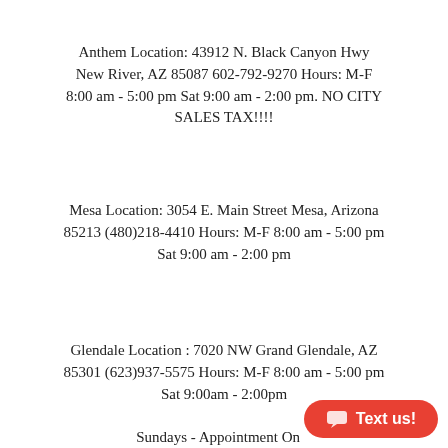Anthem Location: 43912 N. Black Canyon Hwy New River, AZ 85087 602-792-9270 Hours: M-F 8:00 am - 5:00 pm Sat 9:00 am - 2:00 pm. NO CITY SALES TAX!!!!
Mesa Location: 3054 E. Main Street Mesa, Arizona 85213 (480)218-4410 Hours: M-F 8:00 am - 5:00 pm Sat 9:00 am - 2:00 pm
Glendale Location : 7020 NW Grand Glendale, AZ 85301 (623)937-5575 Hours: M-F 8:00 am - 5:00 pm Sat 9:00am - 2:00pm
Sundays - Appointment Only